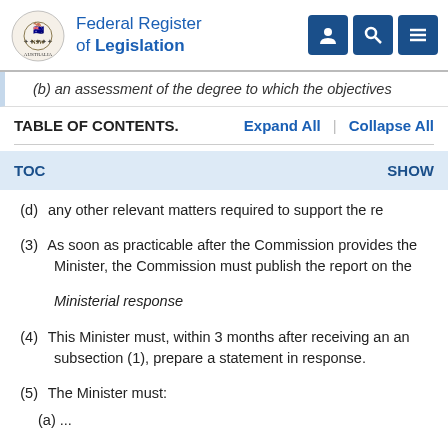Federal Register of Legislation
(b)  an assessment of the degree to which the objectives
TABLE OF CONTENTS.   Expand All  |  Collapse All
TOC   SHOW
(d)  any other relevant matters required to support the re
(3)  As soon as practicable after the Commission provides the Minister, the Commission must publish the report on the
Ministerial response
(4)  This Minister must, within 3 months after receiving an an subsection (1), prepare a statement in response.
(5)  The Minister must:
(a)  ...